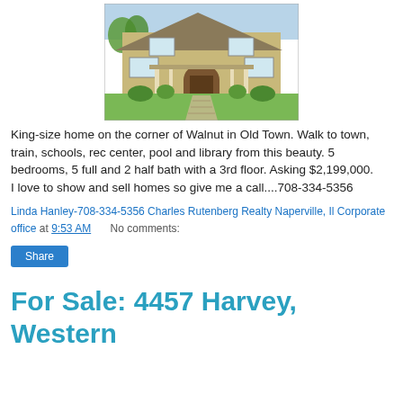[Figure (photo): Exterior photo of a large two-story home with arched entry, front porch, manicured landscaping, and stone pathway]
King-size home on the corner of Walnut in Old Town. Walk to town, train, schools, rec center, pool and library from this beauty. 5 bedrooms, 5 full and 2 half bath with a 3rd floor. Asking $2,199,000.
I love to show and sell homes so give me a call....708-334-5356
Linda Hanley-708-334-5356 Charles Rutenberg Realty Naperville, Il Corporate office at 9:53 AM     No comments:
Share
For Sale: 4457 Harvey, Western